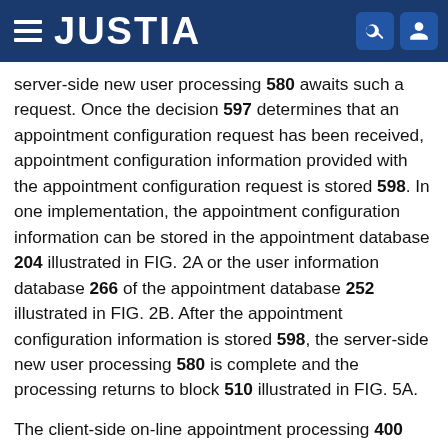JUSTIA
server-side new user processing 580 awaits such a request. Once the decision 597 determines that an appointment configuration request has been received, appointment configuration information provided with the appointment configuration request is stored 598. In one implementation, the appointment configuration information can be stored in the appointment database 204 illustrated in FIG. 2A or the user information database 266 of the appointment database 252 illustrated in FIG. 2B. After the appointment configuration information is stored 598, the server-side new user processing 580 is complete and the processing returns to block 510 illustrated in FIG. 5A.
The client-side on-line appointment processing 400 and the server-side on-line appointment processing 500 can be modified to obtain additional appointment